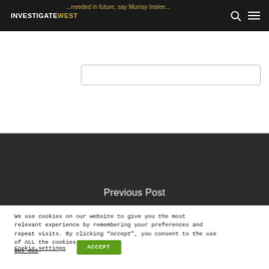INVESTIGATEWEST
...needed in future, say Murray Inslee...
Previous Post
We use cookies on our website to give you the most relevant experience by remembering your preferences and repeat visits. By clicking “Accept”, you consent to the use of ALL the cookies.
Opt out.
Cookie settings
ACCEPT